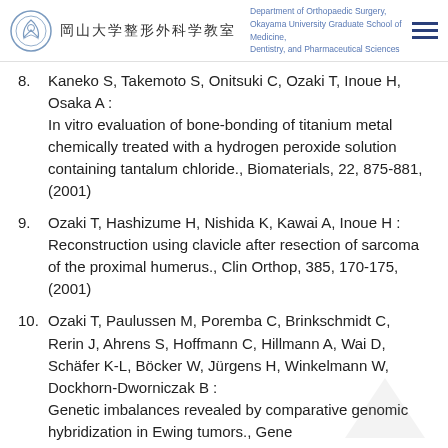岡山大学整形外科学教室 | Department of Orthopaedic Surgery, Okayama University Graduate School of Medicine, Dentistry, and Pharmaceutical Sciences
8. Kaneko S, Takemoto S, Onitsuki C, Ozaki T, Inoue H, Osaka A : In vitro evaluation of bone-bonding of titanium metal chemically treated with a hydrogen peroxide solution containing tantalum chloride., Biomaterials, 22, 875-881, (2001)
9. Ozaki T, Hashizume H, Nishida K, Kawai A, Inoue H : Reconstruction using clavicle after resection of sarcoma of the proximal humerus., Clin Orthop, 385, 170-175, (2001)
10. Ozaki T, Paulussen M, Poremba C, Brinkschmidt C, Rerin J, Ahrens S, Hoffmann C, Hillmann A, Wai D, Schäfer K-L, Böcker W, Jürgens H, Winkelmann W, Dockhorn-Dworniczak B : Genetic imbalances revealed by comparative genomic hybridization in Ewing tumors., Gene